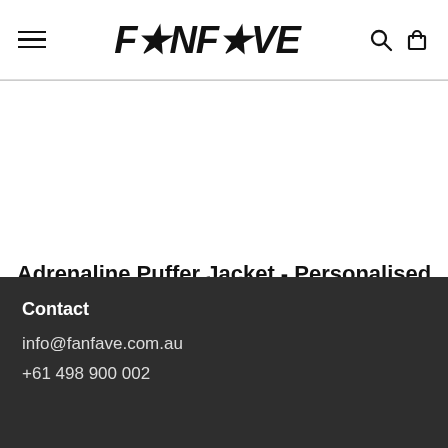FANFAVE
Adrenaline Puffer Jacket - Personalised
$112.00
[Figure (other): Carousel pagination dots: 4 dots, first dot filled/active, remaining three dots are light grey/inactive]
Contact
info@fanfave.com.au
+61 498 900 002